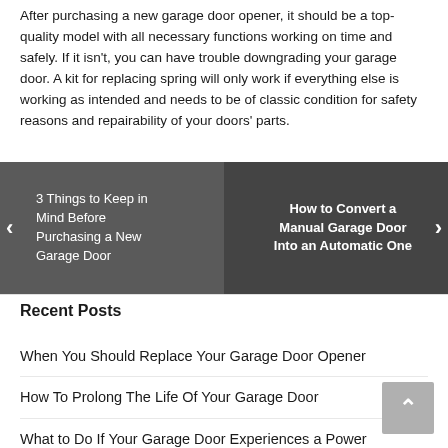After purchasing a new garage door opener, it should be a top-quality model with all necessary functions working on time and safely. If it isn't, you can have trouble downgrading your garage door. A kit for replacing spring will only work if everything else is working as intended and needs to be of classic condition for safety reasons and repairability of your doors' parts.
[Figure (other): A navigation slider/carousel showing two garage door article links side by side with left/right arrows. Left panel: '3 Things to Keep in Mind Before Purchasing a New Garage Door'. Right panel: 'How to Convert a Manual Garage Door Into an Automatic One'.]
Recent Posts
When You Should Replace Your Garage Door Opener
How To Prolong The Life Of Your Garage Door
What to Do If Your Garage Door Experiences a Power